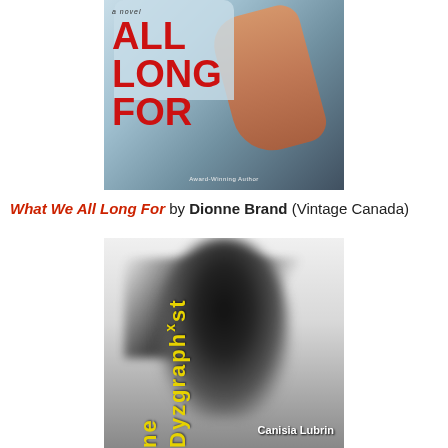[Figure (photo): Book cover of 'What We All Long For' showing partial text ALL LONG FOR in large red letters on a teal/blue background with a person's arm and torso visible. Subtitle reads 'a novel' and bottom text reads 'Award-Winning Author'.]
What We All Long For by Dionne Brand (Vintage Canada)
[Figure (photo): Book cover of 'The Dyzgraphxst' by Canisia Lubrin, showing a black and white blurred image of a person with wild flowing hair. Title text is in yellow vertical type on the left side. Author name 'Canisia Lubrin' appears at the bottom right.]